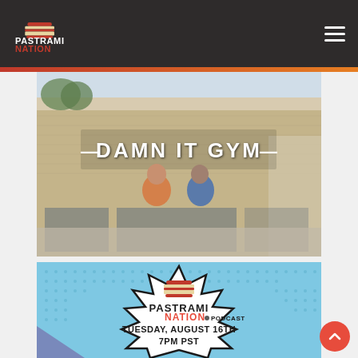Pastrami Nation
[Figure (photo): Two people standing with their backs to the camera facing a brick building with a sign reading DAMN IT GYM]
[Figure (photo): Pastrami Nation Podcast promotional image on comic-book style background with starburst shape reading TUESDAY, AUGUST 16TH 7PM PST]